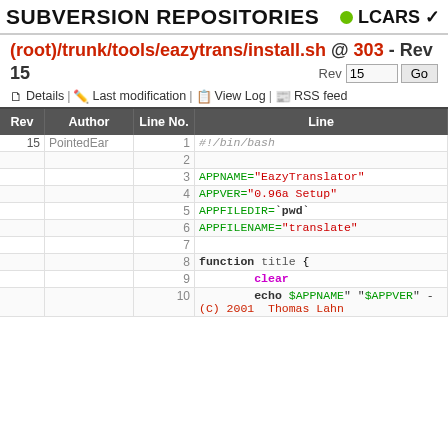SUBVERSION REPOSITORIES • LCARS
(root)/trunk/tools/eazytrans/install.sh @ 303 - Rev 15
Details | Last modification | View Log | RSS feed
| Rev | Author | Line No. | Line |
| --- | --- | --- | --- |
| 15 | PointedEar | 1 | #!/bin/bash |
|  |  | 2 |  |
|  |  | 3 | APPNAME="EazyTranslator" |
|  |  | 4 | APPVER="0.96a Setup" |
|  |  | 5 | APPFILEDIR=`pwd` |
|  |  | 6 | APPFILENAME="translate" |
|  |  | 7 |  |
|  |  | 8 | function title { |
|  |  | 9 |         clear |
|  |  | 10 |         echo $APPNAME" "$APPVER" - (C) 2001  Thomas Lahn |